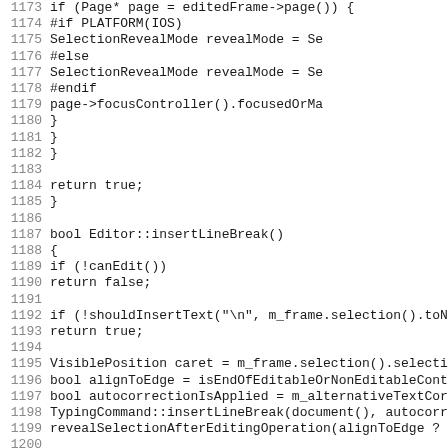Source code listing, lines 1173–1205, C++ editor implementation including insertLineBreak and insertParagraphSeparator functions.